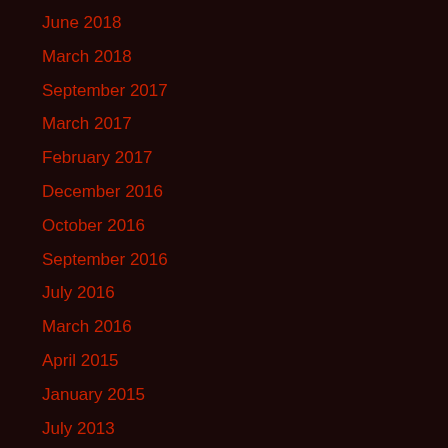June 2018
March 2018
September 2017
March 2017
February 2017
December 2016
October 2016
September 2016
July 2016
March 2016
April 2015
January 2015
July 2013
May 2013